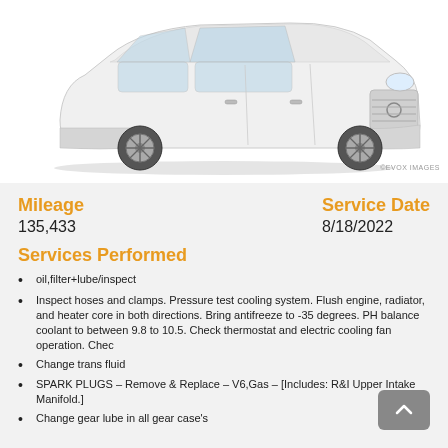[Figure (photo): White Toyota Highlander SUV front view on white background]
©EVOX IMAGES
Mileage
135,433
Service Date
8/18/2022
Services Performed
oil,filter+lube/inspect
Inspect hoses and clamps. Pressure test cooling system. Flush engine, radiator, and heater core in both directions. Bring antifreeze to -35 degrees. PH balance coolant to between 9.8 to 10.5. Check thermostat and electric cooling fan operation. Chec
Change trans fluid
SPARK PLUGS – Remove & Replace – V6,Gas – [Includes: R&I Upper Intake Manifold.]
Change gear lube in all gear case's